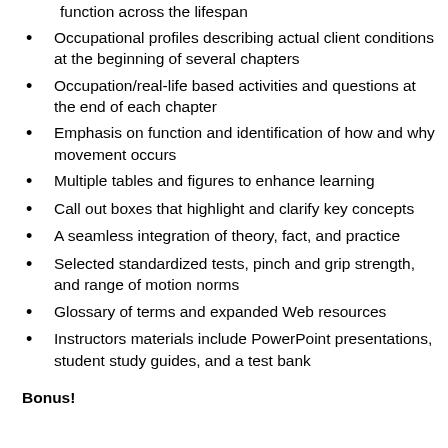function across the lifespan
Occupational profiles describing actual client conditions at the beginning of several chapters
Occupation/real-life based activities and questions at the end of each chapter
Emphasis on function and identification of how and why movement occurs
Multiple tables and figures to enhance learning
Call out boxes that highlight and clarify key concepts
A seamless integration of theory, fact, and practice
Selected standardized tests, pinch and grip strength, and range of motion norms
Glossary of terms and expanded Web resources
Instructors materials include PowerPoint presentations, student study guides, and a test bank
Bonus!